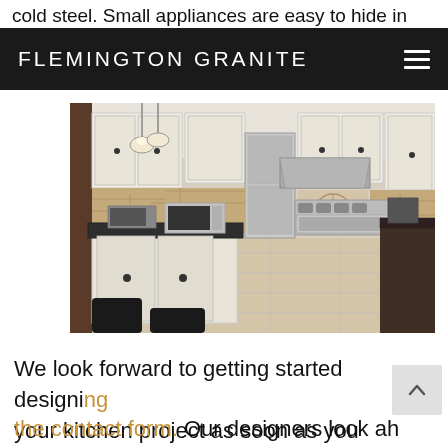cold steel. Small appliances are easy to hide in
FLEMINGTON GRANITE
[Figure (photo): A large, bright kitchen with cream/white cabinetry, dark granite island countertop, stainless steel appliances including a large refrigerator and professional range, stone tile backsplash, pendant lights, and stone tile flooring.]
We look forward to getting started designing your kitchen project as soon as you comple the contact form. Our designers look forward to f